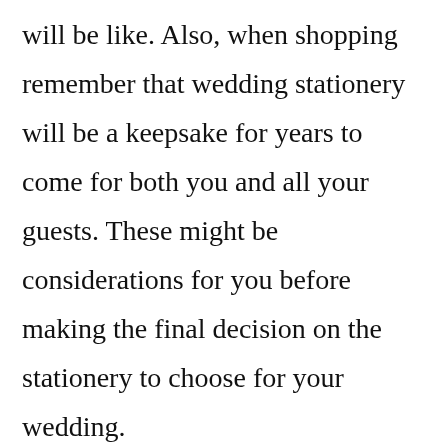will be like. Also, when shopping remember that wedding stationery will be a keepsake for years to come for both you and all your guests. These might be considerations for you before making the final decision on the stationery to choose for your wedding.